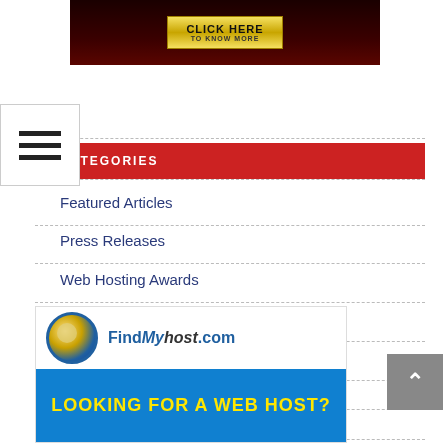[Figure (screenshot): Dark red/black banner with a gold 'CLICK HERE TO KNOW MORE' button in the center]
[Figure (screenshot): White hamburger menu icon box with three horizontal lines]
CATEGORIES
Featured Articles
Press Releases
Web Hosting Awards
Web Hosting Events
Web Hosting Interviews
Web Hosting News
Web Hosting Reviews
[Figure (screenshot): FindMyhost.com advertisement banner - globe logo with 'LOOKING FOR A WEB HOST?' text on blue background]
[Figure (screenshot): Grey back-to-top button with upward arrow]